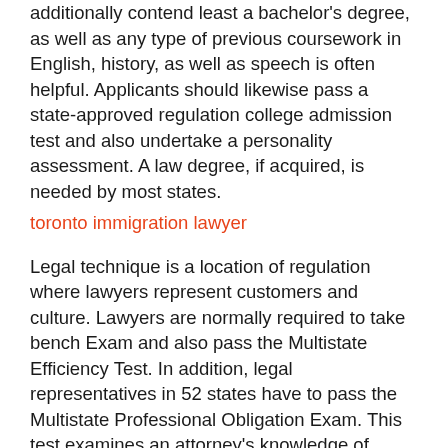additionally contend least a bachelor's degree, as well as any type of previous coursework in English, history, as well as speech is often helpful. Applicants should likewise pass a state-approved regulation college admission test and also undertake a personality assessment. A law degree, if acquired, is needed by most states.
toronto immigration lawyer
Legal technique is a location of regulation where lawyers represent customers and culture. Lawyers are normally required to take bench Exam and also pass the Multistate Efficiency Test. In addition, legal representatives in 52 states have to pass the Multistate Professional Obligation Exam. This test examines an attorney's knowledge of judicial conduct and ABA codes. Normally, these exams are taken during regulation college or after a training course in lawful principles. Nonetheless, law degrees and licensing exams...